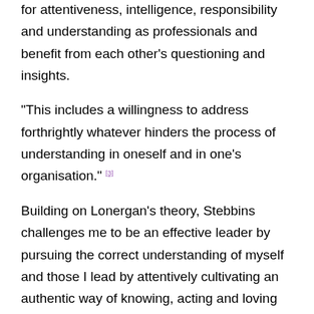for attentiveness, intelligence, responsibility and understanding as professionals and benefit from each other's questioning and insights.
“This includes a willingness to address forthrightly whatever hinders the process of understanding in oneself and in one’s organisation.” [3]
Building on Lonergan’s theory, Stebbins challenges me to be an effective leader by pursuing the correct understanding of myself and those I lead by attentively cultivating an authentic way of knowing, acting and loving and I find Brene Brown’s work echoes these ideas.[4]  To be an authentic retreat facilitator, I must have the courage to ask sensitive, scary questions and overcome challenges that hold me back in my private life.  Otherwise, I at least prevent an